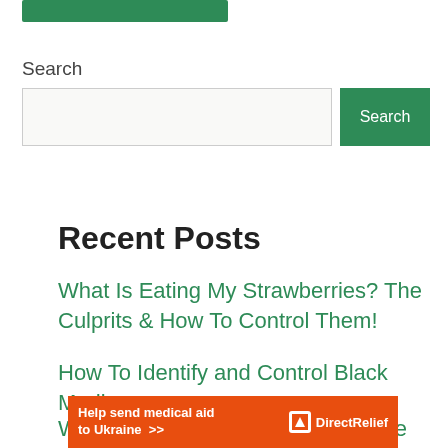[Figure (other): Green navigation bar at top]
Search
[Figure (other): Search input box and green Search button]
Recent Posts
What Is Eating My Strawberries? The Culprits & How To Control Them!
How To Identify and Control Black Medic
Weed In A Lawn | A Comprehensive
[Figure (other): Direct Relief ad banner — Help send medical aid to Ukraine >>]